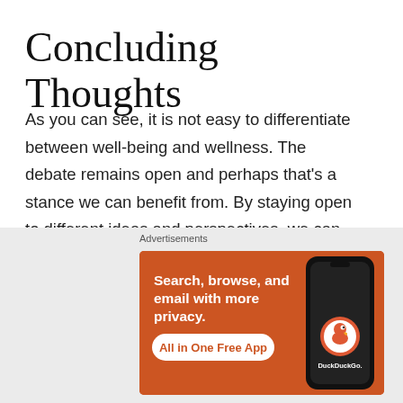Concluding Thoughts
As you can see, it is not easy to differentiate between well-being and wellness. The debate remains open and perhaps that’s a stance we can benefit from. By staying open to different ideas and perspectives, we can engage with different ways of thinking and designing well-being strategies that in the future will allow us to experience greater levels of wellness and happiness. What is your
[Figure (advertisement): DuckDuckGo advertisement banner with orange background. Text reads: 'Search, browse, and email with more privacy. All in One Free App' with a phone illustration and DuckDuckGo logo.]